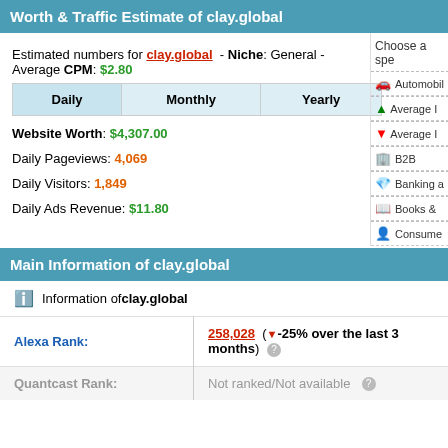Worth & Traffic Estimate of clay.global
Estimated numbers for clay.global - Niche: General - Average CPM: $2.80
| Daily | Monthly | Yearly |
| --- | --- | --- |
Website Worth: $4,307.00
Daily Pageviews: 4,069
Daily Visitors: 1,849
Daily Ads Revenue: $11.80
Main Information of clay.global
Information of clay.global
|  |  |
| --- | --- |
| Alexa Rank: | 258,028 (▼-25% over the last 3 months) |
| Quantcast Rank: | Not ranked/Not available |